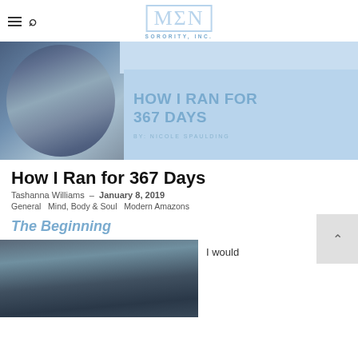Mu Sigma Upsilon Sorority, Inc. — navigation bar with hamburger menu, search icon, and sorority logo
[Figure (photo): Hero banner with photo of woman with locs from behind, blue overlay circle, and text 'HOW I RAN FOR 367 DAYS BY: NICOLE SPAULDING' on light blue background]
How I Ran for 367 Days
Tashanna Williams - January 8, 2019
General Mind, Body & Soul Modern Amazons
The Beginning
[Figure (photo): Photo of a person outdoors with plants/greenery in background]
I would